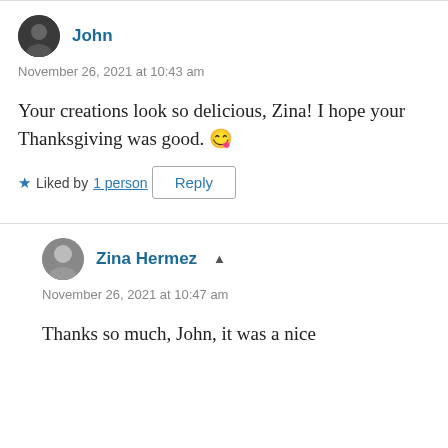John
November 26, 2021 at 10:43 am
Your creations look so delicious, Zina! I hope your Thanksgiving was good. 😊
Liked by 1 person
Reply
Zina Hermez
November 26, 2021 at 10:47 am
Thanks so much, John, it was a nice